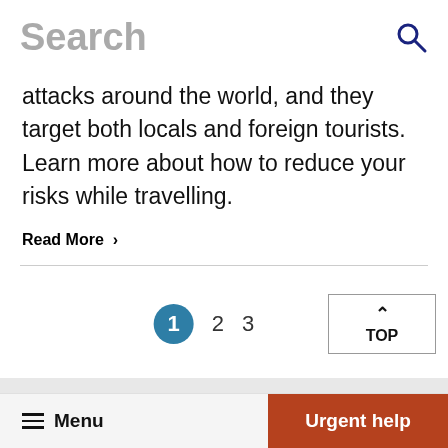Search
attacks around the world, and they target both locals and foreign tourists. Learn more about how to reduce your risks while travelling.
Read More  ›
1  2  3
TOP
Menu   Urgent help